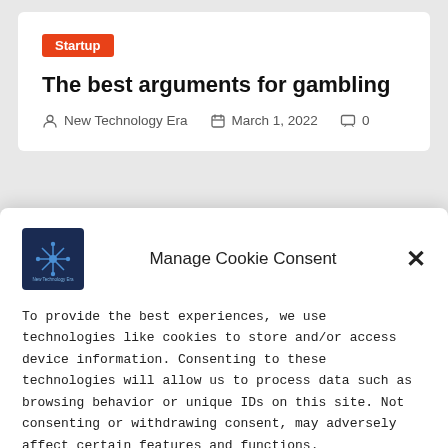Startup
The best arguments for gambling
New Technology Era   March 1, 2022   0
Manage Cookie Consent
To provide the best experiences, we use technologies like cookies to store and/or access device information. Consenting to these technologies will allow us to process data such as browsing behavior or unique IDs on this site. Not consenting or withdrawing consent, may adversely affect certain features and functions.
Accept